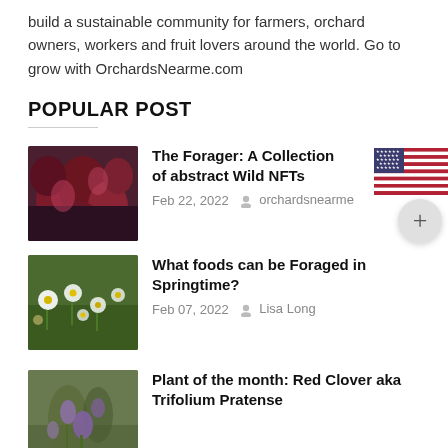build a sustainable community for farmers, orchard owners, workers and fruit lovers around the world. Go to grow with OrchardsNearme.com
POPULAR POST
[Figure (photo): Thumbnail of dark red/purple flowers for The Forager NFTs post]
The Forager: A Collection of abstract Wild NFTs
Feb 22, 2022   orchardsnearme
[Figure (photo): Thumbnail of white and yellow wildflowers for What foods can be Foraged in Springtime? post]
What foods can be Foraged in Springtime?
Feb 07, 2022   Lisa Long
[Figure (photo): Thumbnail of a plant with purple flowers for Plant of the month: Red Clover aka Trifolium Pratense post]
Plant of the month: Red Clover aka Trifolium Pratense